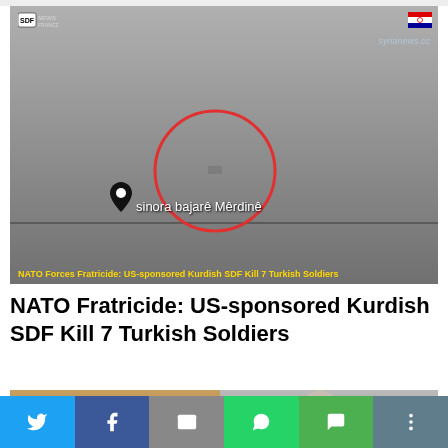[Figure (screenshot): Video thumbnail showing aerial/drone footage of a landscape with a red circle highlighting a vehicle/target. Bottom has text overlay in yellow reading 'NATO Forces Fratricide: US-sponsored Kurdish SDF Kill 7 Turkish Soldiers'. SDF logo top-left, syrianews.cc watermark top-right. Map pin with label 'sinora bajarê Mêrdinê'.]
NATO Fratricide: US-sponsored Kurdish SDF Kill 7 Turkish Soldiers
[Figure (screenshot): Second video thumbnail split image showing two scenes - left side shows sandy/ground scene, right side shows person. SANA logo and syrianews.cc watermark visible.]
[Figure (infographic): Social share bar with Twitter, Facebook, Email, WhatsApp, SMS, and More buttons.]